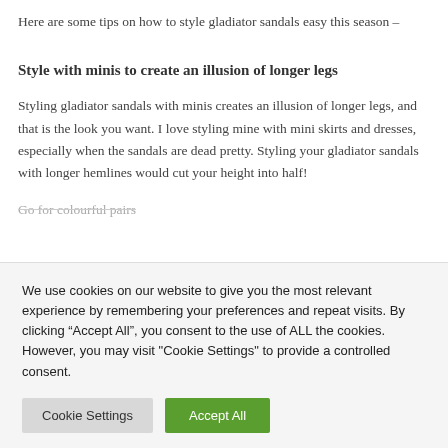Here are some tips on how to style gladiator sandals easy this season –
Style with minis to create an illusion of longer legs
Styling gladiator sandals with minis creates an illusion of longer legs, and that is the look you want. I love styling mine with mini skirts and dresses, especially when the sandals are dead pretty. Styling your gladiator sandals with longer hemlines would cut your height into half!
Go for colourful pairs
We use cookies on our website to give you the most relevant experience by remembering your preferences and repeat visits. By clicking “Accept All”, you consent to the use of ALL the cookies. However, you may visit "Cookie Settings" to provide a controlled consent.